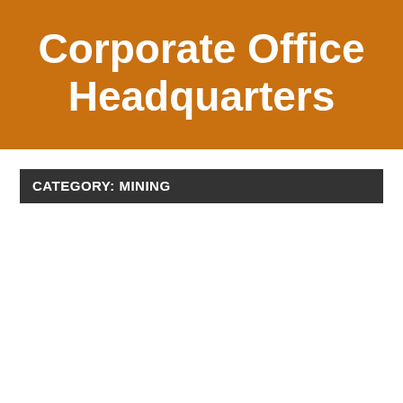Corporate Office Headquarters
CATEGORY: MINING